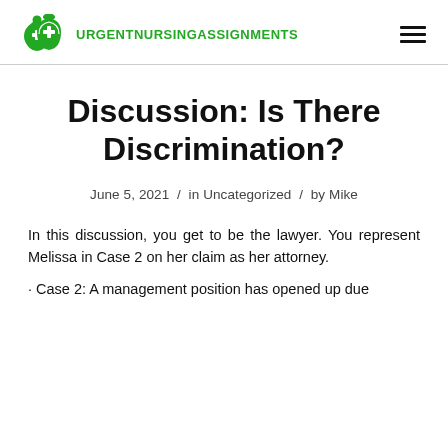URGENTNURSINGASSIGNMENTS
Discussion: Is There Discrimination?
June 5, 2021 / in Uncategorized / by Mike
In this discussion, you get to be the lawyer. You represent Melissa in Case 2 on her claim as her attorney.
· Case 2: A management position has opened up due